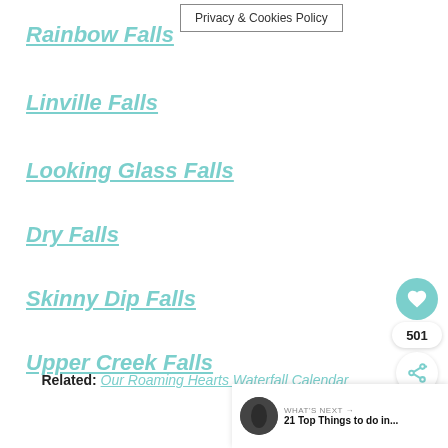Privacy & Cookies Policy
Rainbow Falls
Linville Falls
Looking Glass Falls
Dry Falls
Skinny Dip Falls
Upper Creek Falls
Related: Our Roaming Hearts Waterfall Calendar